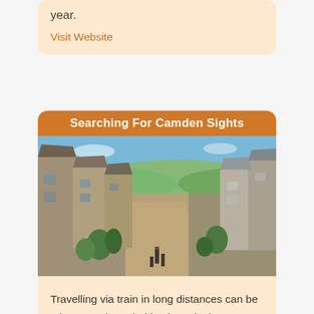year.
Visit Website
Searching For Camden Sights
[Figure (photo): A cobbled street lined with old stone cottages going downhill, with green countryside visible in the background under a blue sky.]
Travelling via train in long distances can be a better option. Find basic and other information you might need about the station and destinations on this page. You can easily search using the name of the station or its 3-character code. Learn the route going to and from the station including bike and car parking and